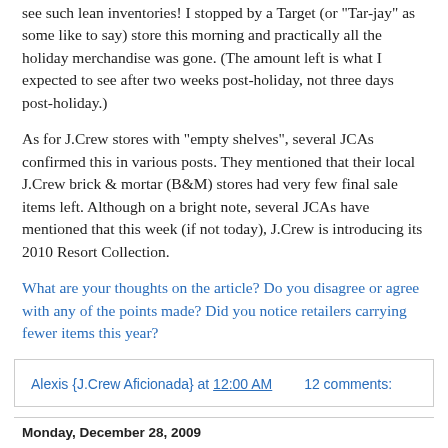see such lean inventories! I stopped by a Target (or "Tar-jay" as some like to say) store this morning and practically all the holiday merchandise was gone. (The amount left is what I expected to see after two weeks post-holiday, not three days post-holiday.)
As for J.Crew stores with "empty shelves", several JCAs confirmed this in various posts. They mentioned that their local J.Crew brick & mortar (B&M) stores had very few final sale items left. Although on a bright note, several JCAs have mentioned that this week (if not today), J.Crew is introducing its 2010 Resort Collection.
What are your thoughts on the article? Do you disagree or agree with any of the points made? Did you notice retailers carrying fewer items this year?
Alexis {J.Crew Aficionada} at 12:00 AM   12 comments:
Monday, December 28, 2009
The Great (Weekly) Exchange {looking